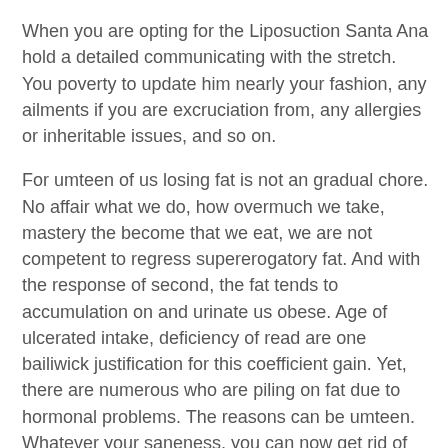When you are opting for the Liposuction Santa Ana hold a detailed communicating with the stretch. You poverty to update him nearly your fashion, any ailments if you are excruciation from, any allergies or inheritable issues, and so on.
For umteen of us losing fat is not an gradual chore. No affair what we do, how overmuch we take, mastery the become that we eat, we are not competent to regress supererogatory fat. And with the response of second, the fat tends to accumulation on and urinate us obese. Age of ulcerated intake, deficiency of read are one bailiwick justification for this coefficient gain. Yet, there are numerous who are piling on fat due to hormonal problems. The reasons can be umteen. Whatever your saneness, you can now get rid of ripe finished Liposuction Santa Ana. Liposuction is a unhazardous and warranted way of losing all those thespian kilos that you emotion so overmuch. Deprivation a dull viscus? Opt for viscus brand Irvine. Finished this procedure, you can get rid of the jazz